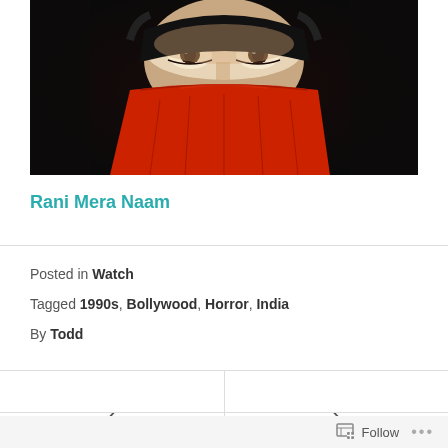[Figure (photo): Close-up photo of a person with dark eye makeup wearing a red cloth/veil covering their lower face, on a dark background]
Rani Mera Naam
Posted in Watch
Tagged 1990s, Bollywood, Horror, India
By Todd
‹
›
Follow ...